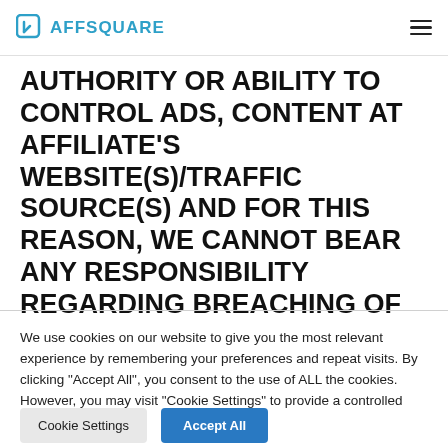AFFSQUARE
THE PARTIES HEREBY AGREE THAT AFF-SQUARE DOES NOT HAVE ANY
AUTHORITY OR ABILITY TO CONTROL ADS, CONTENT AT AFFILIATE'S WEBSITE(S)/TRAFFIC SOURCE(S) AND FOR THIS REASON, WE CANNOT BEAR ANY RESPONSIBILITY REGARDING BREACHING OF ANY THIRD PARTY'S INTELLECTUAL PROPERTY RIGHTS OR OTHER RIGHTS
We use cookies on our website to give you the most relevant experience by remembering your preferences and repeat visits. By clicking "Accept All", you consent to the use of ALL the cookies. However, you may visit "Cookie Settings" to provide a controlled consent.